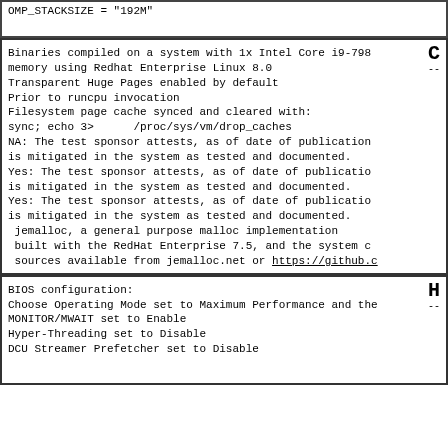OMP_STACKSIZE = "192M"
C
--
Binaries compiled on a system with 1x Intel Core i9-798
memory using Redhat Enterprise Linux 8.0
Transparent Huge Pages enabled by default
Prior to runcpu invocation
Filesystem page cache synced and cleared with:
sync; echo 3>      /proc/sys/vm/drop_caches
NA: The test sponsor attests, as of date of publication
is mitigated in the system as tested and documented.
Yes: The test sponsor attests, as of date of publication
is mitigated in the system as tested and documented.
Yes: The test sponsor attests, as of date of publication
is mitigated in the system as tested and documented.
 jemalloc, a general purpose malloc implementation
 built with the RedHat Enterprise 7.5, and the system c
 sources available from jemalloc.net or https://github.c
H
--
BIOS configuration:
Choose Operating Mode set to Maximum Performance and the
MONITOR/MWAIT set to Enable
Hyper-Threading set to Disable
DCU Streamer Prefetcher set to Disable